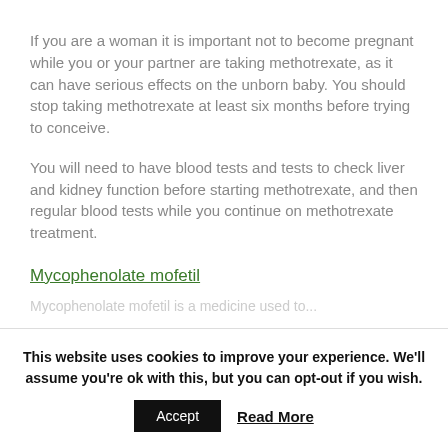If you are a woman it is important not to become pregnant while you or your partner are taking methotrexate, as it can have serious effects on the unborn baby. You should stop taking methotrexate at least six months before trying to conceive.
You will need to have blood tests and tests to check liver and kidney function before starting methotrexate, and then regular blood tests while you continue on methotrexate treatment.
Mycophenolate mofetil
This website uses cookies to improve your experience. We'll assume you're ok with this, but you can opt-out if you wish.